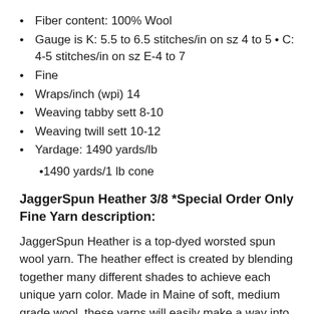Fiber content: 100% Wool
Gauge is K: 5.5 to 6.5 stitches/in on sz 4 to 5 • C: 4-5 stitches/in on sz E-4 to 7
Fine
Wraps/inch (wpi) 14
Weaving tabby sett 8-10
Weaving twill sett 10-12
Yardage: 1490 yards/lb
1490 yards/1 lb cone
JaggerSpun Heather 3/8 *Special Order Only Fine Yarn description:
JaggerSpun Heather is a top-dyed worsted spun wool yarn. The heather effect is created by blending together many different shades to achieve each unique yarn color. Made in Maine of soft, medium grade wool, these yarns will easily make a way into clothing and other products. As a